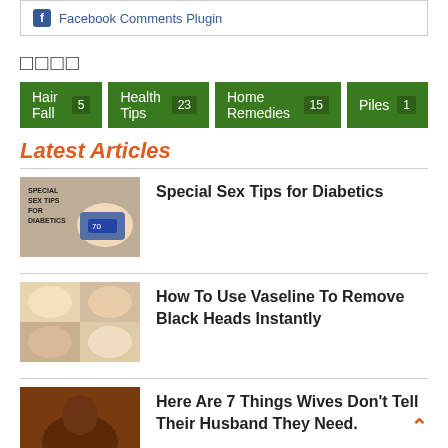Facebook Comments Plugin
□□□□
Hair Fall 5
Health Tips 23
Home Remedies 15
Piles 1
Latest Articles
Special Sex Tips for Diabetics
How To Use Vaseline To Remove Black Heads Instantly
Here Are 7 Things Wives Don't Tell Their Husband They Need.